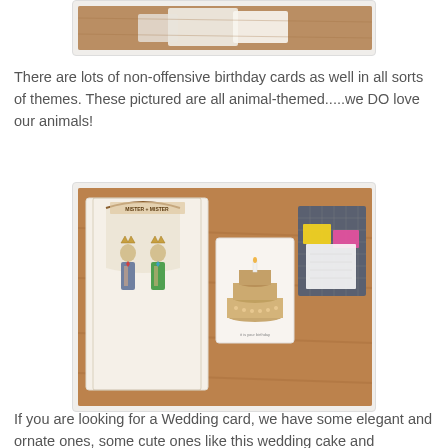[Figure (photo): Top portion of a photo showing cards on a wooden table, partially cropped at top of page]
There are lots of non-offensive birthday cards as well in all sorts of themes. These pictured are all animal-themed.....we DO love our animals!
[Figure (photo): Photo of greeting cards on a wooden table: a 'Mister + Mister' wedding card with two illustrated figures, a birthday cake card, and a dark grid-patterned notepad with colorful sticky notes]
If you are looking for a Wedding card, we have some elegant and ornate ones, some cute ones like this wedding cake and